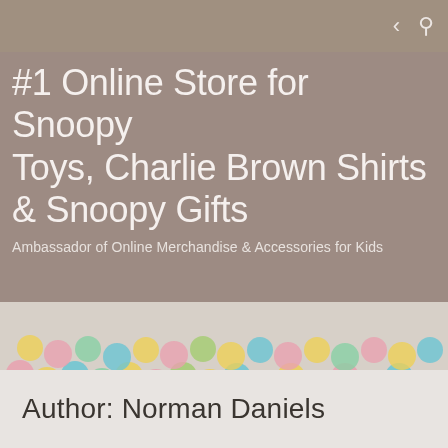< 🔍
#1 Online Store for Snoopy Toys, Charlie Brown Shirts & Snoopy Gifts
Ambassador of Online Merchandise & Accessories for Kids
[Figure (photo): Child laughing and playing in a colorful ball pit filled with pink, green, yellow, blue, and teal plastic balls]
Author: Norman Daniels